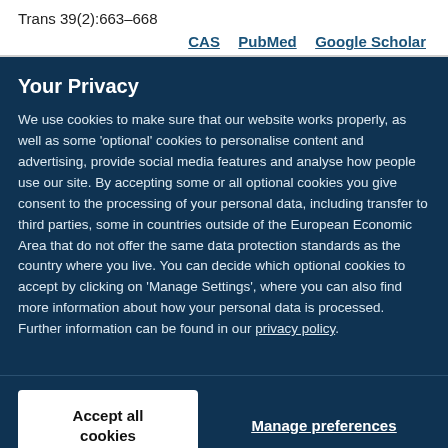Trans 39(2):663–668
CAS   PubMed   Google Scholar
Your Privacy
We use cookies to make sure that our website works properly, as well as some 'optional' cookies to personalise content and advertising, provide social media features and analyse how people use our site. By accepting some or all optional cookies you give consent to the processing of your personal data, including transfer to third parties, some in countries outside of the European Economic Area that do not offer the same data protection standards as the country where you live. You can decide which optional cookies to accept by clicking on 'Manage Settings', where you can also find more information about how your personal data is processed. Further information can be found in our privacy policy.
Accept all cookies
Manage preferences